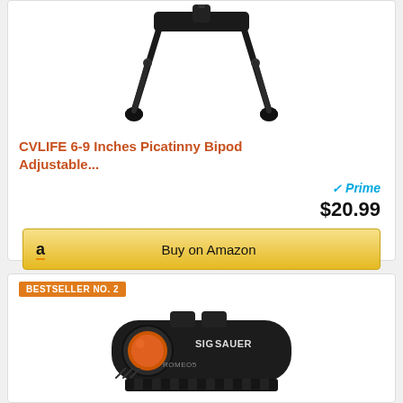[Figure (photo): CVLIFE 6-9 Inches Picatinny Bipod adjustable product image on white background]
CVLIFE 6-9 Inches Picatinny Bipod Adjustable...
[Figure (logo): Amazon Prime logo with checkmark and 'Prime' text in blue]
$20.99
Buy on Amazon
BESTSELLER NO. 2
[Figure (photo): SIG SAUER ROMEO5 red dot sight on white background]